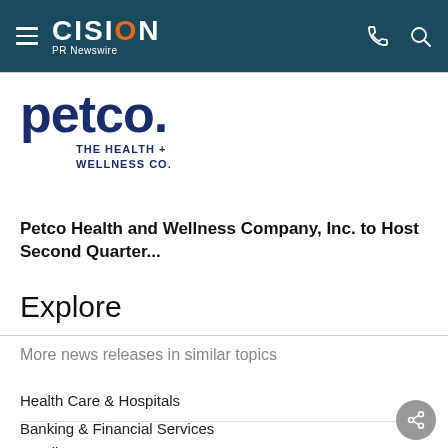CISION PR Newswire
[Figure (logo): Petco The Health + Wellness Co. logo in dark navy blue]
Petco Health and Wellness Company, Inc. to Host Second Quarter...
Explore
More news releases in similar topics
Health Care & Hospitals
Banking & Financial Services
Retail